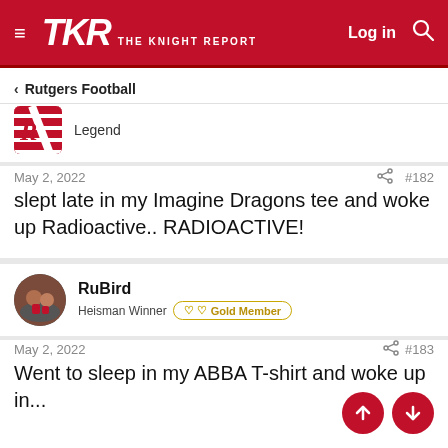TKR THE KNIGHT REPORT — Log in
Rutgers Football
Legend
May 2, 2022   #182
slept late in my Imagine Dragons tee and woke up Radioactive.. RADIOACTIVE!
RuBird — Heisman Winner — Gold Member
May 2, 2022   #183
Went to sleep in my ABBA T-shirt and woke up in...